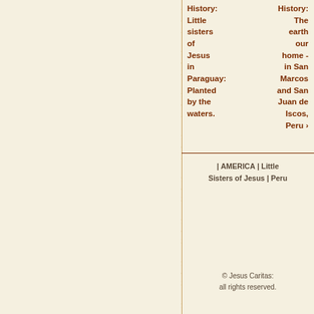History: Little sisters of Jesus in Paraguay: Planted by the waters. | History: The earth our home - in San Marcos and San Juan de Iscos, Peru ›
| AMERICA | Little Sisters of Jesus | Peru
© Jesus Caritas: all rights reserved.